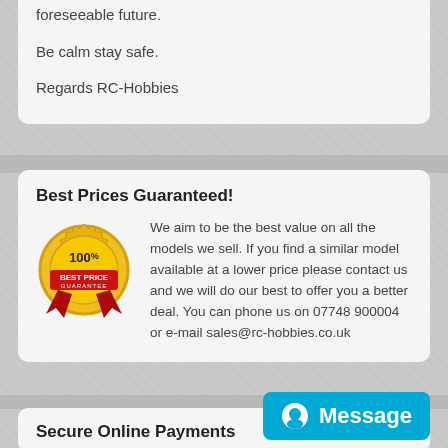foreseeable future.

Be calm stay safe.

Regards RC-Hobbies
Best Prices Guaranteed!
We aim to be the best value on all the models we sell. If you find a similar model available at a lower price please contact us and we will do our best to offer you a better deal. You can phone us on 07748 900004 or e-mail sales@rc-hobbies.co.uk
[Figure (illustration): 100% Best Price Guarantee badge with gold medal and red ribbon]
Secure Online Payments
Message